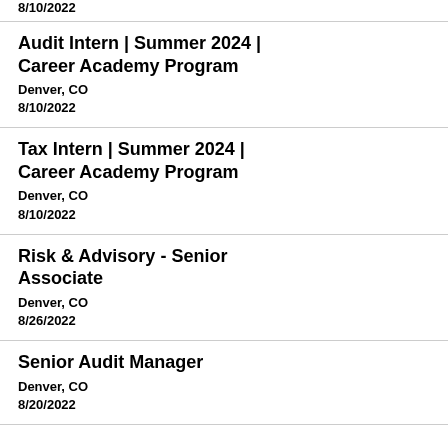8/10/2022
Audit Intern | Summer 2024 | Career Academy Program
Denver, CO
8/10/2022
Tax Intern | Summer 2024 | Career Academy Program
Denver, CO
8/10/2022
Risk & Advisory - Senior Associate
Denver, CO
8/26/2022
Senior Audit Manager
Denver, CO
8/20/2022